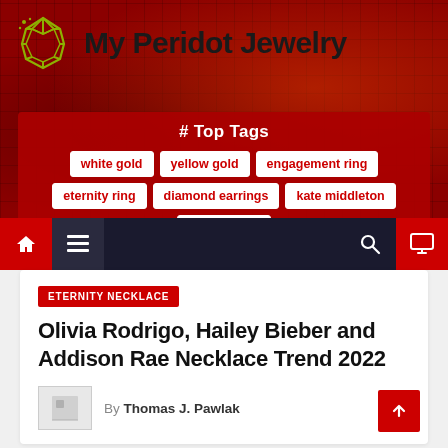My Peridot Jewelry
# Top Tags
white gold
yellow gold
engagement ring
eternity ring
diamond earrings
kate middleton
prince harry
ETERNITY NECKLACE
Olivia Rodrigo, Hailey Bieber and Addison Rae Necklace Trend 2022
By Thomas J. Pawlak